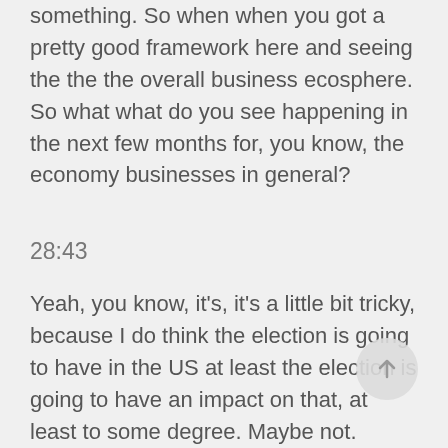something. So when when you got a pretty good framework here and seeing the the the overall business ecosphere. So what what do you see happening in the next few months for, you know, the economy businesses in general?
28:43
Yeah, you know, it's, it's a little bit tricky, because I do think the election is going to have in the US at least the election is going to have an impact on that, at least to some degree. Maybe not. Maybe not in the first, you know, the first seven, eight weeks, although who knows how long it's